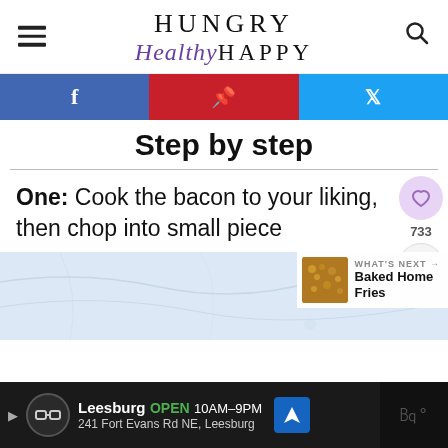Hungry Healthy Happy
[Figure (screenshot): Social share bar with Facebook, Pinterest, and Twitter buttons]
Step by step
One: Cook the bacon to your liking, then chop into small piece
[Figure (photo): Marble texture background image with 'What's Next' overlay showing Baked Home Fries]
Leesburg OPEN 10AM–9PM 241 Fort Evans Rd NE, Leesburg